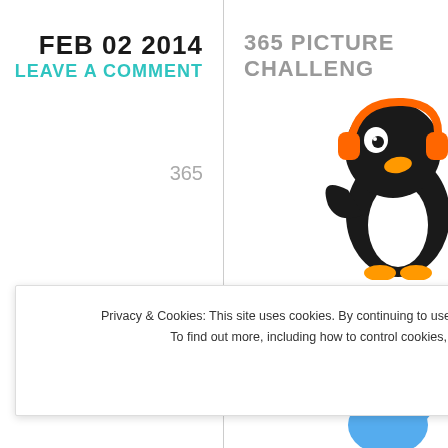FEB 02 2014
LEAVE A COMMENT
365
365 PICTURE CHALLENGE
[Figure (illustration): Cartoon penguin mascot with orange beak and feet, wearing a music headset, colored in black, orange, and yellow tones, partially cropped at right edge]
[Figure (logo): Twitter bird logo in light blue, partially cropped at right edge]
Privacy & Cookies: This site uses cookies. By continuing to use this website, you agree to their use.
To find out more, including how to control cookies, see here: Cookie Policy
Close and accept